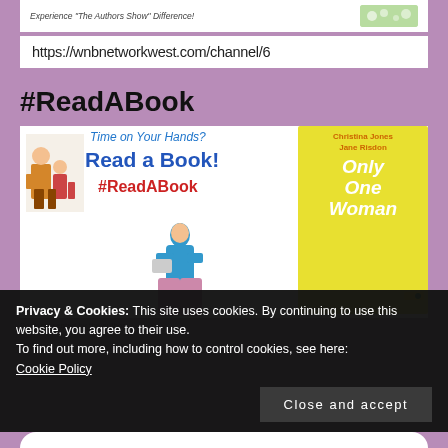[Figure (screenshot): Top banner with text 'Experience "The Authors Show" Difference!' and a decorative floral green image]
https://wnbnetworkwest.com/channel/6
#ReadABook
[Figure (illustration): Read a Book campaign banner. Text: 'Time on Your Hands? Read a Book! #ReadABook' with illustrations of a family reading and a woman reading, alongside a book cover for 'Only One Woman' by Christina Jones and Jane Risdon.]
Book presented by the author...
Privacy & Cookies: This site uses cookies. By continuing to use this website, you agree to their use.
To find out more, including how to control cookies, see here:
Cookie Policy
Close and accept